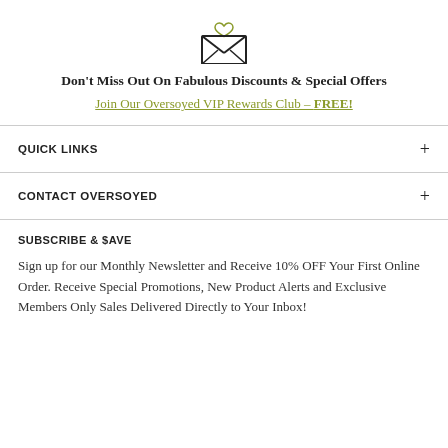[Figure (illustration): Envelope icon with a small heart above it, drawn in black outline style]
Don't Miss Out On Fabulous Discounts & Special Offers
Join Our Oversoyed VIP Rewards Club - FREE!
QUICK LINKS
CONTACT OVERSOYED
SUBSCRIBE & $AVE
Sign up for our Monthly Newsletter and Receive 10% OFF Your First Online Order. Receive Special Promotions, New Product Alerts and Exclusive Members Only Sales Delivered Directly to Your Inbox!